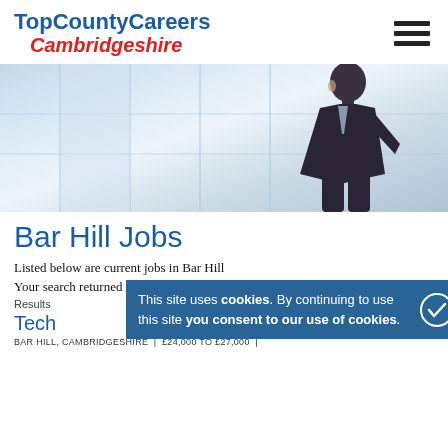TopCountyCareers Cambridgeshire
[Figure (photo): Hero banner image showing silhouette of a businessman in a suit walking, against a blurred modern glass building interior background with blue/grey tones.]
Bar Hill Jobs
Listed below are current jobs in Bar Hill
Your search returned 3,490 results
Results
Tech
This site uses cookies. By continuing to use this site you consent to our use of cookies.
BAR HILL, CAMBRIDGESHIRE  |  £24,000 TO £27,000  |